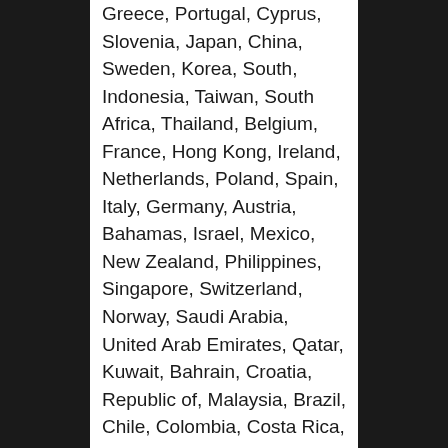Greece, Portugal, Cyprus, Slovenia, Japan, China, Sweden, Korea, South, Indonesia, Taiwan, South Africa, Thailand, Belgium, France, Hong Kong, Ireland, Netherlands, Poland, Spain, Italy, Germany, Austria, Bahamas, Israel, Mexico, New Zealand, Philippines, Singapore, Switzerland, Norway, Saudi Arabia, United Arab Emirates, Qatar, Kuwait, Bahrain, Croatia, Republic of, Malaysia, Brazil, Chile, Colombia, Costa Rica, Dominican Republic, Panama, Trinidad and Tobago, Guatemala, El Salvador, Honduras, Jamaica, Antigua and Barbuda, Aruba, Belize, Dominica, Grenada, Saint Kitts-Nevis, Saint Lucia, Montserrat, Turks and Caicos Islands, Barbados, Bangladesh, Bermuda, Brunei Darussalam, Bolivia, Ecuador, Egypt, French Guiana, Guernsey, Gibraltar, Guadeloupe, Iceland, Jersey, Jordan